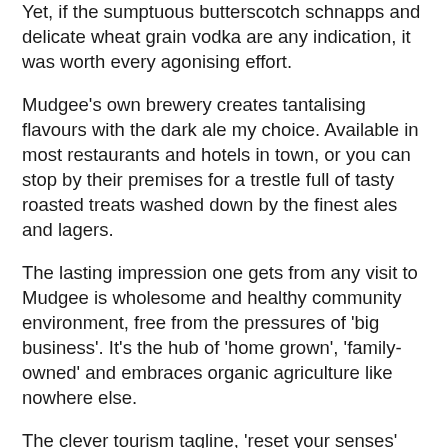Yet, if the sumptuous butterscotch schnapps and delicate wheat grain vodka are any indication, it was worth every agonising effort.
Mudgee's own brewery creates tantalising flavours with the dark ale my choice. Available in most restaurants and hotels in town, or you can stop by their premises for a trestle full of tasty roasted treats washed down by the finest ales and lagers.
The lasting impression one gets from any visit to Mudgee is wholesome and healthy community environment, free from the pressures of 'big business'. It's the hub of 'home grown', 'family-owned' and embraces organic agriculture like nowhere else.
The clever tourism tagline, 'reset your senses' rings true on so many levels, it will leave you refreshed, invigorated and recharged.
Take a midweek break to Mudgee region by 3.5 hour drive or 50 minute flight via FlyPelican. To book, visit